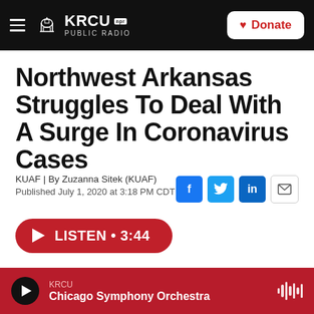KRCU NPR PUBLIC RADIO | Donate
Northwest Arkansas Struggles To Deal With A Surge In Coronavirus Cases
KUAF | By Zuzanna Sitek (KUAF)
Published July 1, 2020 at 3:18 PM CDT
LISTEN • 3:44
KRCU Chicago Symphony Orchestra